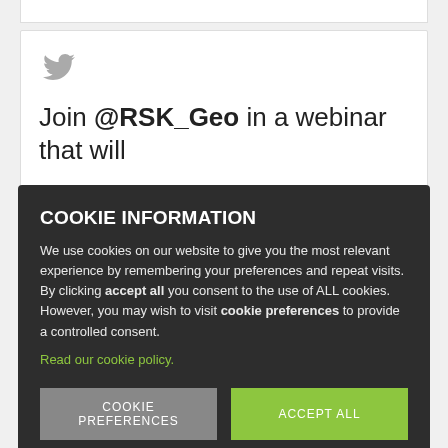[Figure (screenshot): Partial top border of a social media card at the very top of the page]
Join @RSK_Geo in a webinar that will
[Figure (screenshot): Cookie consent overlay dialog on dark background with title COOKIE INFORMATION, body text about cookie usage, a green link 'Read our cookie policy.', and two buttons: COOKIE PREFERENCES (grey) and ACCEPT ALL (green)]
Did you know nuclear accounts for 10% of electrical power generation for the planet? In this insight, Lara Duro... https://t.co/qqQiugBmwp